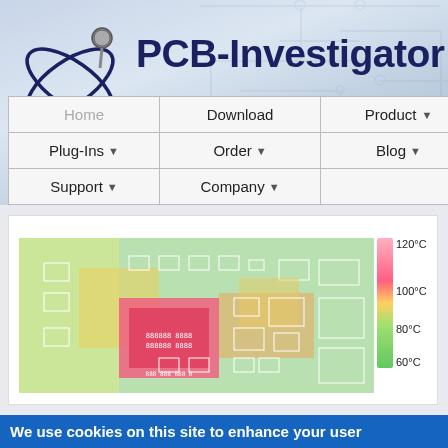[Figure (logo): PCB-Investigator logo with atom/pin icon and site title text]
English   Français   Deutsch
Home | Download | Product | Plug-Ins | Order | Blog | Support | Company
[Figure (screenshot): PCB thermal heatmap showing component temperature distribution with color scale from 60°C to 120°C on the right side]
We use cookies on this site to enhance your user